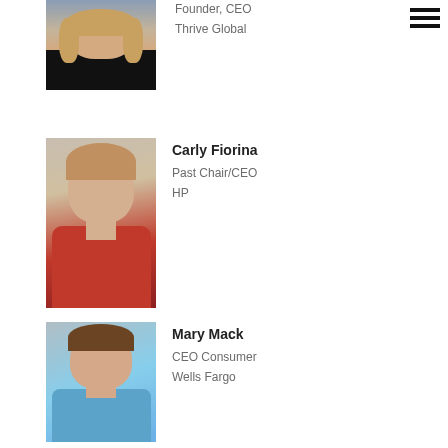[Figure (photo): Photo of Arianna Huffington, partially visible at top]
Founder, CEO
Thrive Global
[Figure (photo): Photo of Carly Fiorina in red jacket]
Carly Fiorina
Past Chair/CEO
HP
[Figure (photo): Photo of Mary Mack in blue outfit]
Mary Mack
CEO Consumer
Wells Fargo